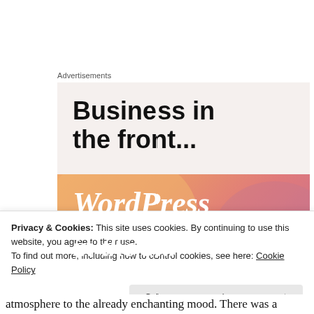Advertisements
[Figure (illustration): WordPress advertisement banner showing 'Business in the front...' text in bold on a light background, with an orange/pink gradient band below containing 'WordPress' text in white italic bold, partially cut off.]
Privacy & Cookies: This site uses cookies. By continuing to use this website, you agree to their use.
To find out more, including how to control cookies, see here: Cookie Policy
Close and accept
atmosphere to the already enchanting mood. There was a